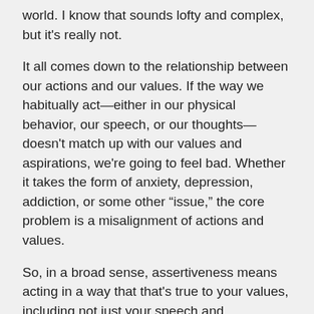world. I know that sounds lofty and complex, but it's really not.
It all comes down to the relationship between our actions and our values. If the way we habitually act—either in our physical behavior, our speech, or our thoughts—doesn't match up with our values and aspirations, we're going to feel bad. Whether it takes the form of anxiety, depression, addiction, or some other “issue,” the core problem is a misalignment of actions and values.
So, in a broad sense, assertiveness means acting in a way that that's true to your values, including not just your speech and communication, but also how you think and how you behave.
You can learn more about this broad definition of